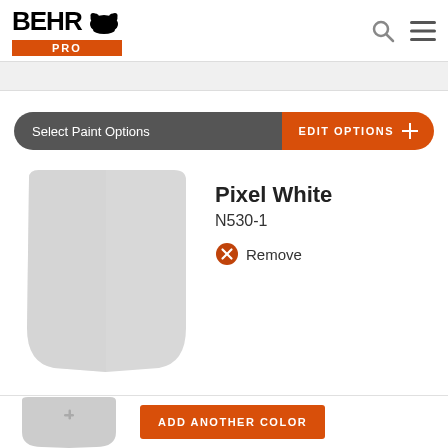[Figure (logo): BEHR PRO logo with bear icon and orange PRO badge]
[Figure (illustration): Search icon and hamburger menu icon in header top right]
Select Paint Options
EDIT OPTIONS +
[Figure (illustration): Light gray curved paint color swatch chip for Pixel White]
Pixel White
N530-1
Remove
[Figure (illustration): Gray curved add color swatch chip with plus sign]
ADD ANOTHER COLOR